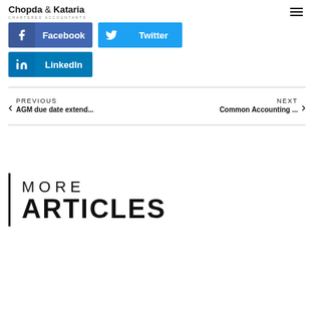Chopda & Kataria CHARTERED ACCOUNTANTS
[Figure (infographic): Social share buttons: Facebook (dark blue), Twitter (light blue), LinkedIn (blue)]
< PREVIOUS
AGM due date extend...    Common Accounting ...
                                NEXT >
MORE
ARTICLES